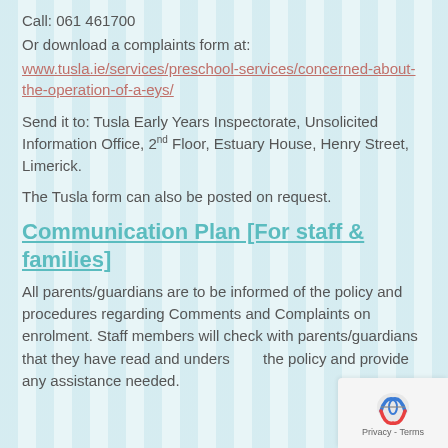Call: 061 461700
Or download a complaints form at:
www.tusla.ie/services/preschool-services/concerned-about-the-operation-of-a-eys/
Send it to: Tusla Early Years Inspectorate, Unsolicited Information Office, 2nd Floor, Estuary House, Henry Street, Limerick.
The Tusla form can also be posted on request.
Communication Plan [For staff & families]
All parents/guardians are to be informed of the policy and procedures regarding Comments and Complaints on enrolment. Staff members will check with parents/guardians that they have read and understood the policy and provide any assistance needed.